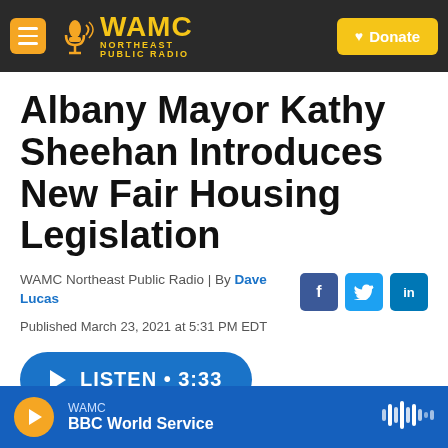WAMC Northeast Public Radio — Donate
Albany Mayor Kathy Sheehan Introduces New Fair Housing Legislation
WAMC Northeast Public Radio | By Dave Lucas
Published March 23, 2021 at 5:31 PM EDT
LISTEN • 3:33
WAMC — BBC World Service